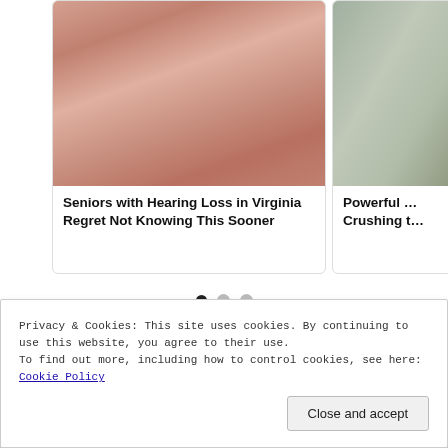[Figure (photo): Close-up photo of fingers holding small nail clippers or tweezers, skin-tone background]
Seniors with Hearing Loss in Virginia Regret Not Knowing This Sooner
[Figure (photo): Partial photo of a room or textured surface, cropped on right edge]
Powerful … Crushing t…
[Figure (other): Three pagination dots: first filled/dark, second and third light/empty]
[Figure (photo): Background photo strip partially visible behind cookie consent banner]
Privacy & Cookies: This site uses cookies. By continuing to use this website, you agree to their use.
To find out more, including how to control cookies, see here: Cookie Policy
Close and accept